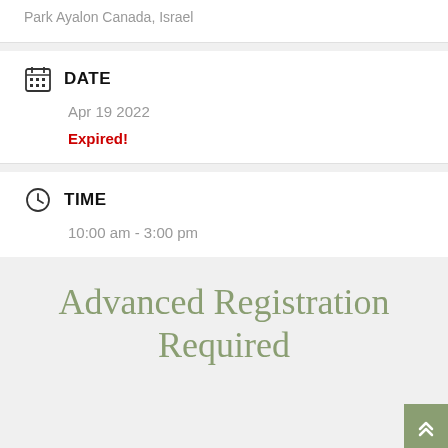Park Ayalon Canada, Israel
DATE
Apr 19 2022
Expired!
TIME
10:00 am - 3:00 pm
Advanced Registration Required